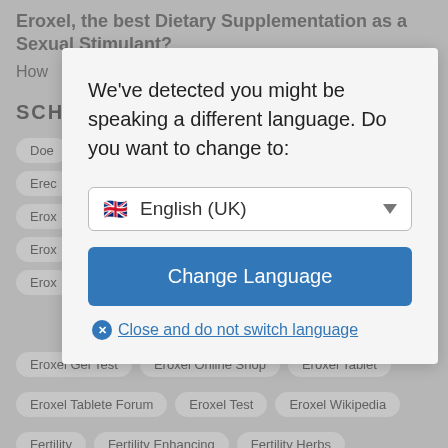Eroxel, the best Dietary Supplementation as a Sexual Stimulant?
How
SCH
Doe
Erec
Erox
Erox
Erox
We've detected you might be speaking a different language. Do you want to change to:
🇬🇧 English (UK)
Change Language
Close and do not switch language
Eroxel Gel Test
Eroxel Online Shop
Eroxel Tablet
Eroxel Tablete Forum
Eroxel Test
Eroxel Wikipedia
Fertility
Fertility Enhancing
Fertility Herbs